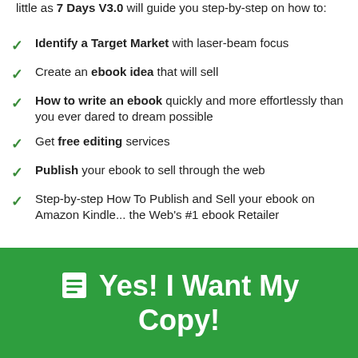little as 7 Days V3.0 will guide you step-by-step on how to:
Identify a Target Market with laser-beam focus
Create an ebook idea that will sell
How to write an ebook quickly and more effortlessly than you ever dared to dream possible
Get free editing services
Publish your ebook to sell through the web
Step-by-step How To Publish and Sell your ebook on Amazon Kindle... the Web's #1 ebook Retailer
[Figure (other): Green call-to-action button with book icon and text 'Yes! I Want My Copy!']